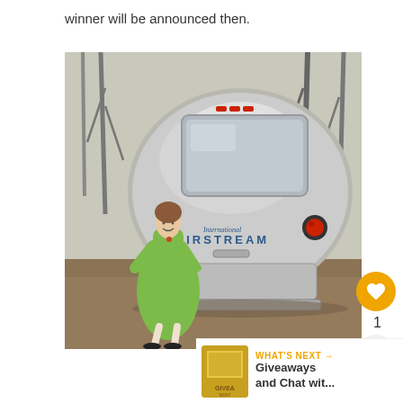winner will be announced then.
[Figure (photo): A woman in a green dress standing in front of a vintage silver Airstream International trailer, parked outdoors among bare trees on dry grass.]
WHAT'S NEXT → Giveaways and Chat wit...